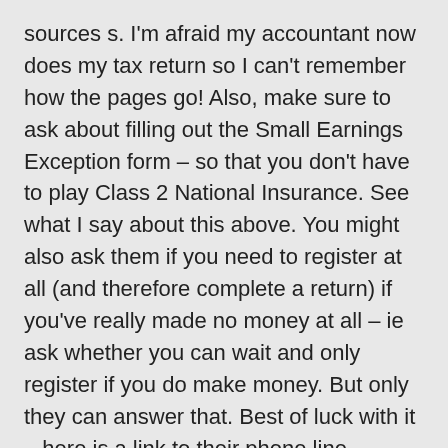sources s. I'm afraid my accountant now does my tax return so I can't remember how the pages go! Also, make sure to ask about filling out the Small Earnings Exception form – so that you don't have to play Class 2 National Insurance. See what I say about this above. You might also ask them if you need to register at all (and therefore complete a return) if you've really made no money at all – ie ask whether you can wait and only register if you do make money. But only they can answer that. Best of luck with it – here is a link to their phone line numbers. https://www.gov.uk/government/organisations/hm-revenue-customs/contact/newly-self-